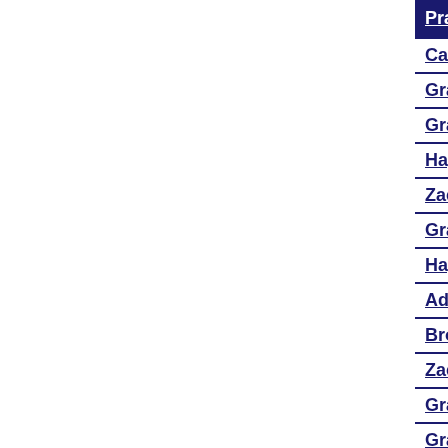Practice Makes Perfekt Invitational - Fina...
Caitlin Pitt
Grant Gibson
Grant Gibson
Hayden Cone
Zach Gibson
Grace Kerkaert
Hayden Cone
Addison Wagner and Zach Gibson
Brooklyn Woods
Zach Gibson
Grace Kerkaert and Hayden Cone
Grant Gibson
Addison Wagner
Breanna Wieneke
Zach Gibson
Caitlin Pitt